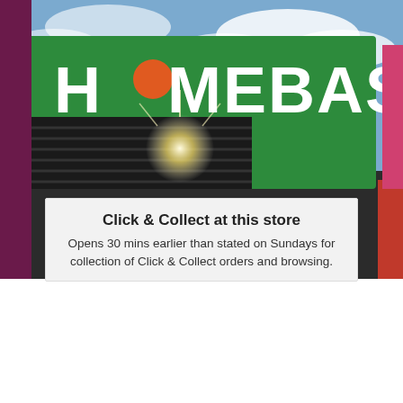[Figure (photo): Homebase store exterior sign on green background with sunlight and cloudy sky]
Click & Collect at this store
Opens 30 mins earlier than stated on Sundays for collection of Click & Collect orders and browsing.
Our partners and us collect data and use cookies, email pixels and similar tools to enhance your experience, analyse traffic and for ad personalisation and measurement. One such partner is Google. For more information see our cookie policy.
Accept